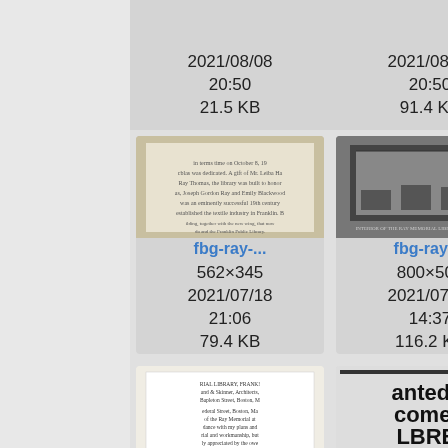[Figure (screenshot): File manager grid view showing image thumbnails with filenames (fbg-ray-..., fbg-rens-...), dimensions, dates, and file sizes. Partial top row shows two cells with date 2021/08/08 20:50 and sizes 21.5 KB, 91.4 KB. Middle row shows two document/photo thumbnails labeled fbg-ray-... with dimensions 562×345 and 800×506, dates 2021/07/18 21:06 and 2021/07/19 14:37, sizes 79.4 KB and 116.2 KB. Bottom row shows thumbnails labeled fbg-ray-... (1089×303, 2021/07/18) and fbg-rens-... (300×42, 2021/07/28).]